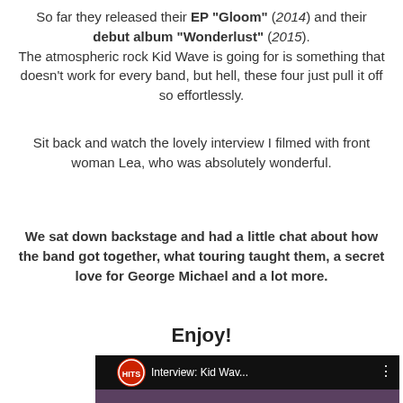So far they released their EP "Gloom" (2014) and their debut album "Wonderlust" (2015). The atmospheric rock Kid Wave is going for is something that doesn't work for every band, but hell, these four just pull it off so effortlessly.
Sit back and watch the lovely interview I filmed with front woman Lea, who was absolutely wonderful.
We sat down backstage and had a little chat about how the band got together, what touring taught them, a secret love for George Michael and a lot more.
Enjoy!
[Figure (screenshot): YouTube video thumbnail showing Interview: Kid Wav... with HITS logo, two women visible, YouTube play button overlay]